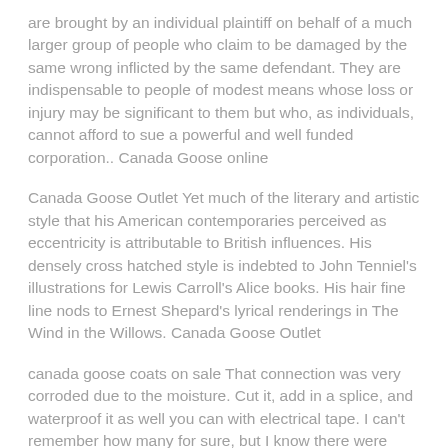are brought by an individual plaintiff on behalf of a much larger group of people who claim to be damaged by the same wrong inflicted by the same defendant. They are indispensable to people of modest means whose loss or injury may be significant to them but who, as individuals, cannot afford to sue a powerful and well funded corporation.. Canada Goose online
Canada Goose Outlet Yet much of the literary and artistic style that his American contemporaries perceived as eccentricity is attributable to British influences. His densely cross hatched style is indebted to John Tenniel's illustrations for Lewis Carroll's Alice books. His hair fine line nods to Ernest Shepard's lyrical renderings in The Wind in the Willows. Canada Goose Outlet
canada goose coats on sale That connection was very corroded due to the moisture. Cut it, add in a splice, and waterproof it as well you can with electrical tape. I can't remember how many for sure, but I know there were other splices at that same spot too. The Metropolitan Police have launched a formal inquiry following the string of allegations being made by canada goose outlet online uk victims too afraid to come forward when Savile was alive. canada goose